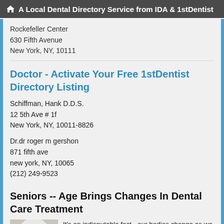A Local Dental Directory Service from IDA & 1stDentist
Rockefeller Center
630 Fifth Avenue
New York, NY, 10111
Doctor - Activate Your Free 1stDentist Directory Listing
Schiffman, Hank D.D.S.
12 5th Ave # 1f
New York, NY, 10011-8826
Dr.dr roger m gershon
871 fifth ave
new york, NY, 10065
(212) 249-9523
Seniors -- Age Brings Changes In Dental Care Treatment
[Figure (photo): Photo of an elderly person, partially visible]
It's an indisputable fact - our bodies change as we get older...